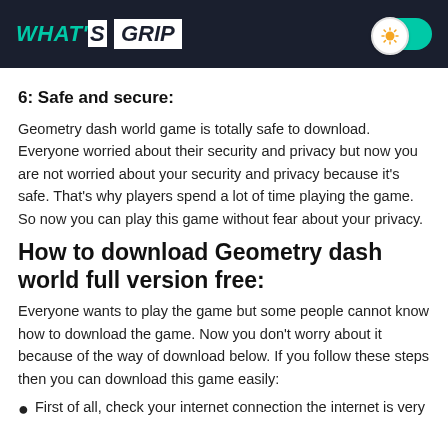WHAT'S GRIP
6: Safe and secure:
Geometry dash world game is totally safe to download. Everyone worried about their security and privacy but now you are not worried about your security and privacy because it’s safe. That’s why players spend a lot of time playing the game. So now you can play this game without fear about your privacy.
How to download Geometry dash world full version free:
Everyone wants to play the game but some people cannot know how to download the game. Now you don’t worry about it because of the way of download below. If you follow these steps then you can download this game easily:
First of all, check your internet connection the internet is very